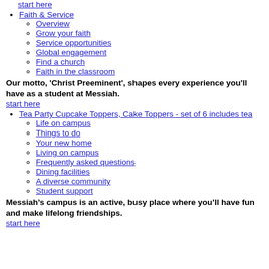start here
Faith & Service
Overview
Grow your faith
Service opportunities
Global engagement
Find a church
Faith in the classroom
Our motto, 'Christ Preeminent', shapes every experience you'll have as a student at Messiah.
start here
Tea Party Cupcake Toppers, Cake Toppers - set of 6 includes tea
Life on campus
Things to do
Your new home
Living on campus
Frequently asked questions
Dining facilities
A diverse community
Student support
Messiah’s campus is an active, busy place where you’ll have fun and make lifelong friendships.
start here